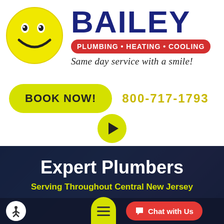[Figure (logo): Bailey Plumbing Heating Cooling logo with yellow smiley face and company name]
BOOK NOW!
800-717-1793
[Figure (other): Yellow circle play button]
Expert Plumbers
Serving Throughout Central New Jersey
Chat with Us